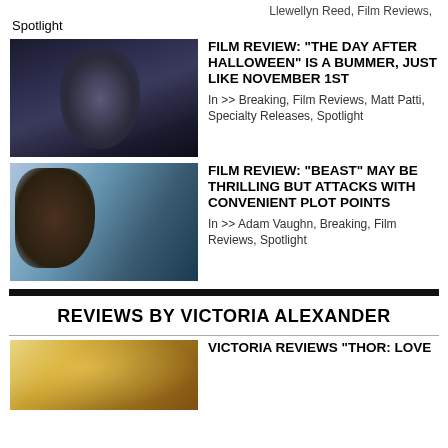Llewellyn Reed, Film Reviews, Spotlight
[Figure (photo): Dark moody horror photo of a woman in black standing in a forest]
FILM REVIEW: “THE DAY AFTER HALLOWEEN” IS A BUMMER, JUST LIKE NOVEMBER 1ST
In >> Breaking, Film Reviews, Matt Patti, Specialty Releases, Spotlight
[Figure (photo): Two people inside a car, action movie scene]
FILM REVIEW: “BEAST” MAY BE THRILLING BUT ATTACKS WITH CONVENIENT PLOT POINTS
In >> Adam Vaughn, Breaking, Film Reviews, Spotlight
REVIEWS BY VICTORIA ALEXANDER
[Figure (photo): Thor: Love and Thunder movie still]
VICTORIA REVIEWS “THOR: LOVE